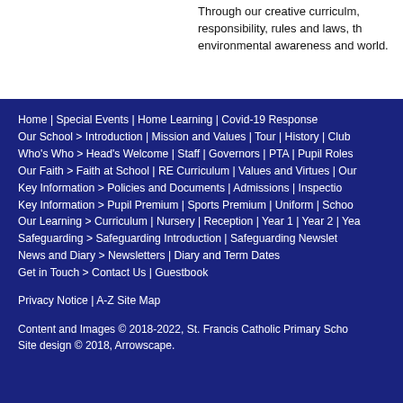Through our creative curriculum, responsibility, rules and laws, th… environmental awareness and … world.
Home | Special Events | Home Learning | Covid-19 Response
Our School > Introduction | Mission and Values | Tour | History | Club…
Who's Who > Head's Welcome | Staff | Governors | PTA | Pupil Roles…
Our Faith > Faith at School | RE Curriculum | Values and Virtues | Our…
Key Information > Policies and Documents | Admissions | Inspectio…
Key Information > Pupil Premium | Sports Premium | Uniform | Schoo…
Our Learning > Curriculum | Nursery | Reception | Year 1 | Year 2 | Yea…
Safeguarding > Safeguarding Introduction | Safeguarding Newslet…
News and Diary > Newsletters | Diary and Term Dates
Get in Touch > Contact Us | Guestbook
Privacy Notice | A-Z Site Map
Content and Images © 2018-2022, St. Francis Catholic Primary Scho… Site design © 2018, Arrowscape.